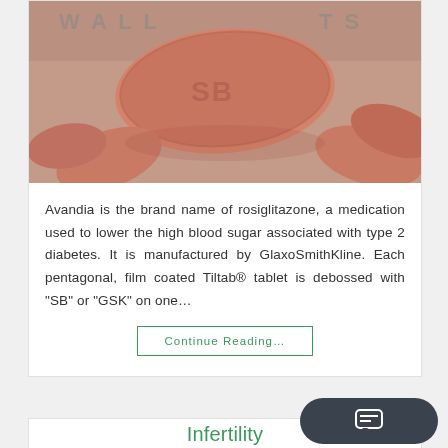[Figure (photo): Close-up photo of salmon/pink colored Avandia (rosiglitazone) pills with 'SB' debossed on the top tablet, held in a hand, with text visible in the background.]
Avandia is the brand name of rosiglitazone, a medication used to lower the high blood sugar associated with type 2 diabetes. It is manufactured by GlaxoSmithKline. Each pentagonal, film coated Tiltab® tablet is debossed with "SB" or "GSK" on one…
Continue Reading…
Infertility